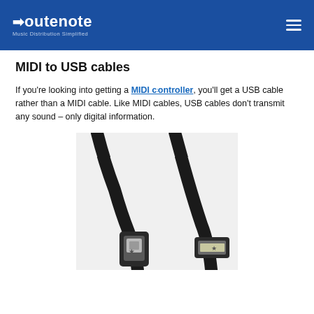RouteNote — Music Distribution Simplified
MIDI to USB cables
If you're looking into getting a MIDI controller, you'll get a USB cable rather than a MIDI cable. Like MIDI cables, USB cables don't transmit any sound – only digital information.
[Figure (photo): Photo of a USB cable with two ends shown: USB Type-B connector on the left and USB Type-A connector on the right, both black.]